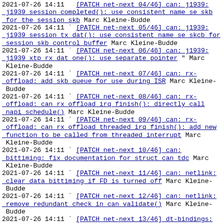2021-07-26 14:11  ` [PATCH net-next 04/46] can: j1939: j1939 session completed(): use consistent name se skb for the session skb Marc Kleine-Budde
2021-07-26 14:11  ` [PATCH net-next 05/46] can: j1939: j1939 session tx dat(): use consistent name se skcb for session skb control buffer Marc Kleine-Budde
2021-07-26 14:11  ` [PATCH net-next 06/46] can: j1939: j1939 xtp rx dat one(): use separate pointer " Marc Kleine-Budde
2021-07-26 14:11  ` [PATCH net-next 07/46] can: rx-offload: add skb queue for use during ISR Marc Kleine-Budde
2021-07-26 14:11  ` [PATCH net-next 08/46] can: rx-offload: can rx offload irq finish(): directly call napi schedule() Marc Kleine-Budde
2021-07-26 14:11  ` [PATCH net-next 09/46] can: rx-offload: can rx offload threaded irq finish(): add new function to be called from threaded interrupt Marc Kleine-Budde
2021-07-26 14:11  ` [PATCH net-next 10/46] can: bittiming: fix documentation for struct can tdc Marc Kleine-Budde
2021-07-26 14:11  ` [PATCH net-next 11/46] can: netlink: clear data bittiming if FD is turned off Marc Kleine-Budde
2021-07-26 14:11  ` [PATCH net-next 12/46] can: netlink: remove redundant check in can validate() Marc Kleine-Budde
2021-07-26 14:11  ` [PATCH net-next 13/46] dt-bindings: net: can: Document transceiver implementation as phy Marc Kleine-Budde